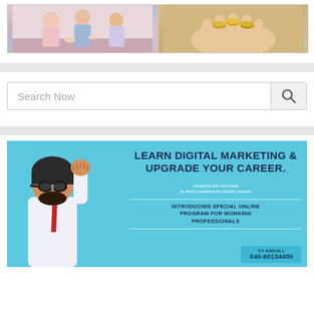[Figure (photo): Two side-by-side photos: left shows people (appears to be a counseling or social scene), right shows hands holding coins or small objects]
[Figure (infographic): Search bar with placeholder text 'Search Now' and a magnifying glass search button on the right]
[Figure (infographic): Advertisement banner with light blue background showing a man in a pilot/aviator helmet with fist raised. Text reads: LEARN DIGITAL MARKETING & UPGRADE YOUR CAREER. Designed and instructed by highly experienced industry experts. INTRODUCING SPECIAL ONLINE PROGRAM FOR WORKING PROFESSIONALS. TO ENROLL 040-60134400]